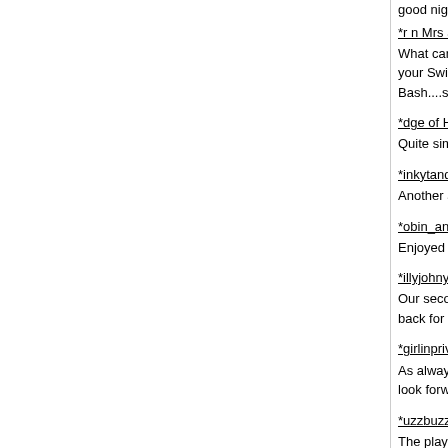good night
*r n Mrs S (53), Couple on 16 May 2017 by Meeting... What can we say that hasn't already been said ab... how to throw a party! Thank you sexy peeps for a... at your Swingles 3 event...this is most definitely a b... :o).....great chatting to you both and we hope we c... Bash....see you both soon....Adie n Shelley xxx
*dge of Heaven (47), Man on 15 May 2017 by Mee... Quite simply a fantastic evening. Good facilities, fr... pushy, hassle free environment. Would highly reco...
*inkytandk (41), Couple on 15 May 2017 by Meetin... Another amazing party! Great new location too!! T... organise and run parties
*obin_and_marion (59), Couple on 15 May 2017 b... Enjoyed our visit to Swingles at the Playgrounds o... sociable people and we had a lot of fun. Will be vis...
*illyjohny (53), Couple on 14 May 2017 by Meeting... Our second visit to Swingle's last night and once a... of great people there and as usual Rod and Jacks... back for more soon xx
*girlinprivate (34), TV/TS on 14 May 2017 by Meet... As always a awesome party night. Awesome hosts... team making sure it all goes smoothly. A really bus... look forward to seeing you all again soon. Sophie ...
*uzzbuzz (54), Couple on 14 May 2017 by Meeting... The playgrounds parties are legendary . Well atten...